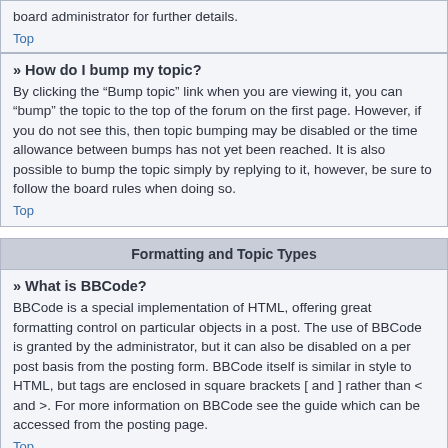board administrator for further details.
Top
» How do I bump my topic?
By clicking the “Bump topic” link when you are viewing it, you can “bump” the topic to the top of the forum on the first page. However, if you do not see this, then topic bumping may be disabled or the time allowance between bumps has not yet been reached. It is also possible to bump the topic simply by replying to it, however, be sure to follow the board rules when doing so.
Top
Formatting and Topic Types
» What is BBCode?
BBCode is a special implementation of HTML, offering great formatting control on particular objects in a post. The use of BBCode is granted by the administrator, but it can also be disabled on a per post basis from the posting form. BBCode itself is similar in style to HTML, but tags are enclosed in square brackets [ and ] rather than < and >. For more information on BBCode see the guide which can be accessed from the posting page.
Top
» Can I use HTML?
No. It is not possible to post HTML on this board and have it